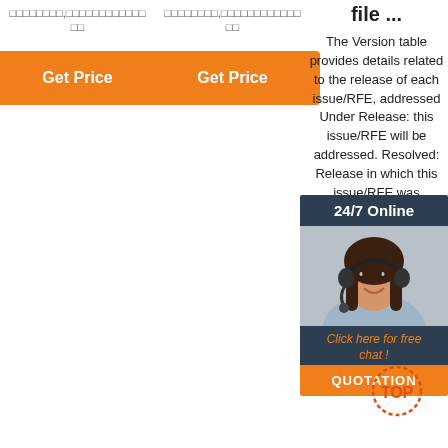□□□□□□□□,□□□□□□□□□□□□ □□
□□□□□□□□,□□□□□□□□□□□□ □□
[Figure (other): Orange 'Get Price' button]
[Figure (other): Orange 'Get Price' button]
file ...
The Version table provides details related to the release of each issue/RFE, addressed Under Release: this issue/RFE will be addressed. Resolved: Release in which this issue/RFE was resolved. Fixed: Release in which this issue/RFE has been fixed.The release containing this fix may be
[Figure (other): 24/7 Online chat widget with woman wearing headset, 'Click here for free chat!' text and QUOTATION button]
[Figure (other): TOP badge watermark]